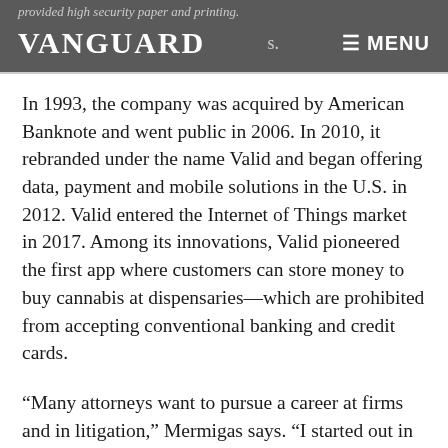provided high security paper and printing. VANGUARD s. ≡ MENU
In 1993, the company was acquired by American Banknote and went public in 2006. In 2010, it rebranded under the name Valid and began offering data, payment and mobile solutions in the U.S. in 2012. Valid entered the Internet of Things market in 2017. Among its innovations, Valid pioneered the first app where customers can store money to buy cannabis at dispensaries—which are prohibited from accepting conventional banking and credit cards.
“Many attorneys want to pursue a career at firms and in litigation,” Mermigas says. “I started out in